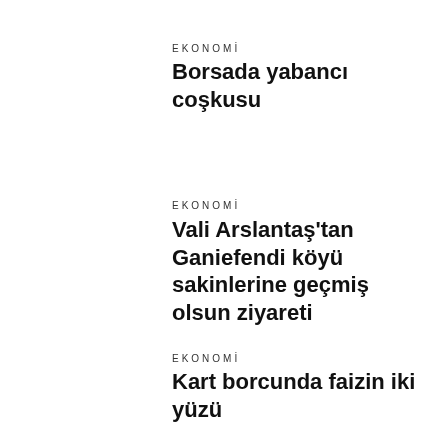EKONOMİ
Borsada yabancı coşkusu
EKONOMİ
Vali Arslantaş'tan Ganiefendi köyü sakinlerine geçmiş olsun ziyareti
EKONOMİ
Kart borcunda faizin iki yüzü